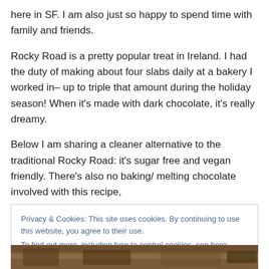here in SF. I am also just so happy to spend time with family and friends.
Rocky Road is a pretty popular treat in Ireland. I had the duty of making about four slabs daily at a bakery I worked in– up to triple that amount during the holiday season! When it's made with dark chocolate, it's really dreamy.
Below I am sharing a cleaner alternative to the traditional Rocky Road: it's sugar free and vegan friendly. There's also no baking/ melting chocolate involved with this recipe,
Privacy & Cookies: This site uses cookies. By continuing to use this website, you agree to their use.
To find out more, including how to control cookies, see here: Cookie Policy
Close and accept
[Figure (photo): Food photo strip at bottom of page showing Rocky Road chocolate treat]